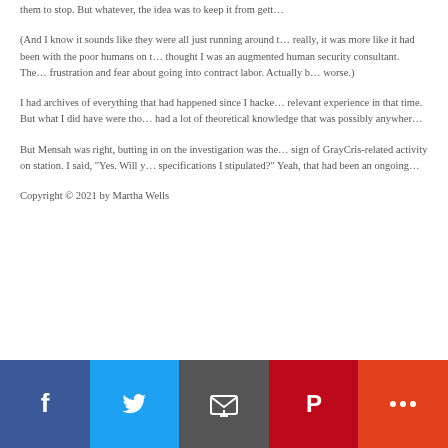them to stop. But whatever, the idea was to keep it from gett…
(And I know it sounds like they were all just running around t… really, it was more like it had been with the poor humans on t… thought I was an augmented human security consultant. The… frustration and fear about going into contract labor. Actually b… worse.)
I had archives of everything that had happened since I hacke… relevant experience in that time. But what I did have were tho… had a lot of theoretical knowledge that was possibly anywher…
But Mensah was right, butting in on the investigation was the… sign of GrayCris-related activity on station. I said, "Yes. Will y… specifications I stipulated?" Yeah, that had been an ongoing…
Copyright © 2021 by Martha Wells
[Figure (infographic): Social sharing bar with Facebook (blue), Twitter (light blue), Email (dark gray), Pinterest (red), and More (orange-red) buttons]